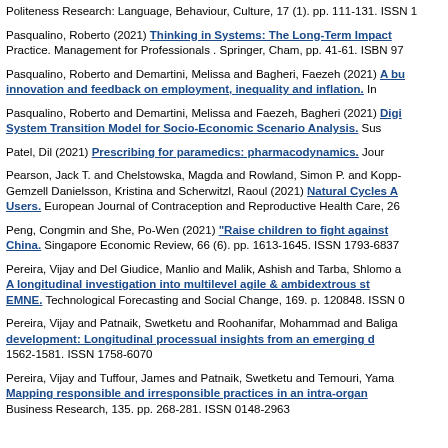Politeness Research: Language, Behaviour, Culture, 17 (1). pp. 111-131. ISSN 1
Pasqualino, Roberto (2021) Thinking in Systems: The Long-Term Impact... Practice. Management for Professionals . Springer, Cham, pp. 41-61. ISBN 97...
Pasqualino, Roberto and Demartini, Melissa and Bagheri, Faezeh (2021) A bu... innovation and feedback on employment, inequality and inflation. In...
Pasqualino, Roberto and Demartini, Melissa and Faezeh, Bagheri (2021) Digi... System Transition Model for Socio-Economic Scenario Analysis. Sus...
Patel, Dil (2021) Prescribing for paramedics: pharmacodynamics. Jour...
Pearson, Jack T. and Chelstowska, Magda and Rowland, Simon P. and Kopp-Gemzell Danielsson, Kristina and Scherwitzl, Raoul (2021) Natural Cycles A... Users. European Journal of Contraception and Reproductive Health Care, 26...
Peng, Congmin and She, Po-Wen (2021) "Raise children to fight against..." China. Singapore Economic Review, 66 (6). pp. 1613-1645. ISSN 1793-6837
Pereira, Vijay and Del Giudice, Manlio and Malik, Ashish and Tarba, Shlomo a... A longitudinal investigation into multilevel agile & ambidextrous st... EMNE. Technological Forecasting and Social Change, 169. p. 120848. ISSN 0...
Pereira, Vijay and Patnaik, Swetketu and Roohanifar, Mohammad and Baliga... development: Longitudinal processual insights from an emerging d... 1562-1581. ISSN 1758-6070
Pereira, Vijay and Tuffour, James and Patnaik, Swetketu and Temouri, Yama... Mapping responsible and irresponsible practices in an intra-organ... Business Research, 135. pp. 268-281. ISSN 0148-2963